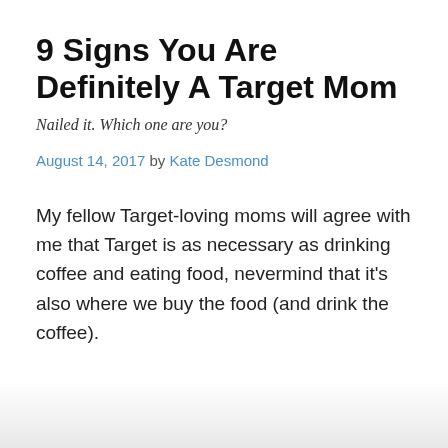9 Signs You Are Definitely A Target Mom
Nailed it. Which one are you?
August 14, 2017 by Kate Desmond
My fellow Target-loving moms will agree with me that Target is as necessary as drinking coffee and eating food, nevermind that it’s also where we buy the food (and drink the coffee).